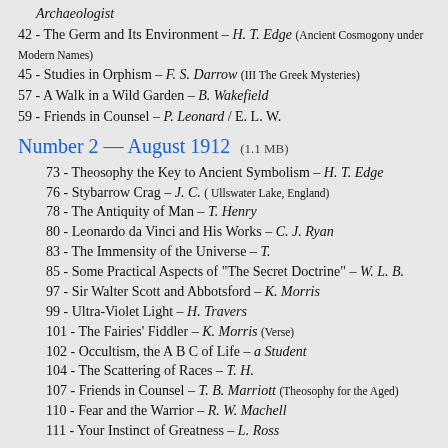Archaeologist
42 - The Germ and Its Environment – H. T. Edge (Ancient Cosmogony under Modern Names)
45 - Studies in Orphism – F. S. Darrow (III The Greek Mysteries)
57 - A Walk in a Wild Garden – B. Wakefield
59 - Friends in Counsel – P. Leonard / E. L. W.
Number 2 — August 1912  (1.1 MB)
73 - Theosophy the Key to Ancient Symbolism – H. T. Edge
76 - Stybarrow Crag – J. C. ( Ullswater Lake, England)
78 - The Antiquity of Man – T. Henry
80 - Leonardo da Vinci and His Works – C. J. Ryan
83 - The Immensity of the Universe – T.
85 - Some Practical Aspects of "The Secret Doctrine" – W. L. B.
97 - Sir Walter Scott and Abbotsford – K. Morris
99 - Ultra-Violet Light – H. Travers
101 - The Fairies' Fiddler – K. Morris (Verse)
102 - Occultism, the A B C of Life – a Student
104 - The Scattering of Races – T. H.
107 - Friends in Counsel – T. B. Marriott (Theosophy for the Aged)
110 - Fear and the Warrior – R. W. Machell
111 - Your Instinct of Greatness – L. Ross